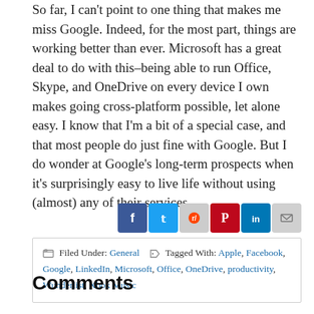So far, I can't point to one thing that makes me miss Google. Indeed, for the most part, things are working better than ever. Microsoft has a great deal to do with this–being able to run Office, Skype, and OneDrive on every device I own makes going cross-platform possible, let alone easy. I know that I'm a bit of a special case, and that most people do just fine with Google. But I do wonder at Google's long-term prospects when it's surprisingly easy to live life without using (almost) any of their services.
[Figure (other): Social sharing icons: Facebook, Twitter, Reddit, Pinterest, LinkedIn, Mail]
Filed Under: General   Tagged With: Apple, Facebook, Google, LinkedIn, Microsoft, Office, OneDrive, productivity, Wunderlist, Xbox Music
Comments
eserrano250 says